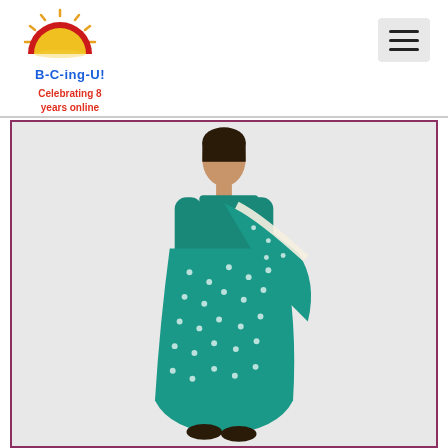[Figure (logo): B-C-ing-U! logo with a sun rising over a yellow semicircle, with radiating rays, in red and yellow colors]
B-C-ing-U!
Celebrating 8 years online
[Figure (photo): A woman wearing a teal/green silk saree with small white polka-dot pattern, draped in traditional style with a cream/white border stripe, against a light gray background]